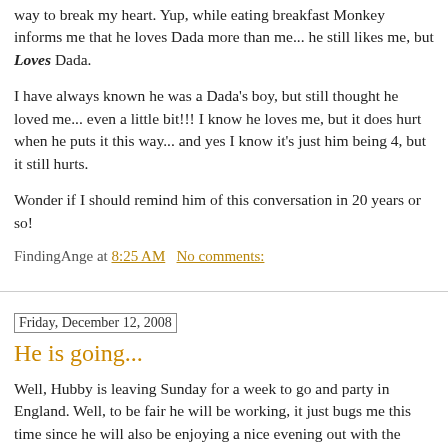way to break my heart. Yup, while eating breakfast Monkey informs me that he loves Dada more than me... he still likes me, but Loves Dada.
I have always known he was a Dada's boy, but still thought he loved me... even a little bit!!! I know he loves me, but it does hurt when he puts it this way... and yes I know it's just him being 4, but it still hurts.
Wonder if I should remind him of this conversation in 20 years or so!
FindingAnge at 8:25 AM   No comments:
Friday, December 12, 2008
He is going...
Well, Hubby is leaving Sunday for a week to go and party in England. Well, to be fair he will be working, it just bugs me this time since he will also be enjoying a nice evening out with the employees. I haven't attended a Christmas Party in